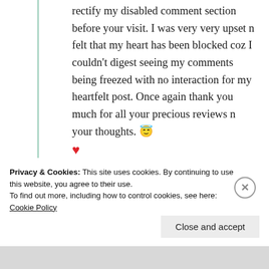rectify my disabled comment section before your visit. I was very very upset n felt that my heart has been blocked coz I couldn't digest seeing my comments being freezed with no interaction for my heartfelt post. Once again thank you much for all your precious reviews n your thoughts. 😇 ❤️
★ Liked by 1 person
Log in to Reply
Privacy & Cookies: This site uses cookies. By continuing to use this website, you agree to their use. To find out more, including how to control cookies, see here: Cookie Policy
Close and accept